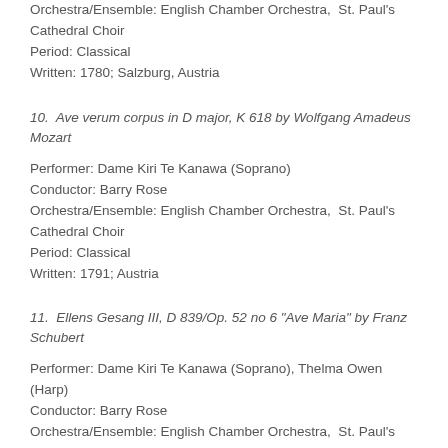Orchestra/Ensemble: English Chamber Orchestra,  St. Paul's Cathedral Choir
Period: Classical
Written: 1780; Salzburg, Austria
10.  Ave verum corpus in D major, K 618 by Wolfgang Amadeus Mozart
Performer: Dame Kiri Te Kanawa (Soprano)
Conductor: Barry Rose
Orchestra/Ensemble: English Chamber Orchestra,  St. Paul's Cathedral Choir
Period: Classical
Written: 1791; Austria
11.  Ellens Gesang III, D 839/Op. 52 no 6 "Ave Maria" by Franz Schubert
Performer: Dame Kiri Te Kanawa (Soprano), Thelma Owen (Harp)
Conductor: Barry Rose
Orchestra/Ensemble: English Chamber Orchestra,  St. Paul's